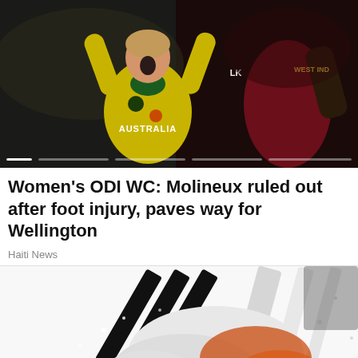[Figure (photo): Cricket players — a woman in Australian yellow cricket kit celebrating with arms raised, and a West Indies player in dark maroon kit visible on the right. Slideshow indicator dots at the bottom.]
Women's ODI WC: Molineux ruled out after foot injury, paves way for Wellington
Haiti News
[Figure (photo): Close-up dramatic photo of a cricket shoe/boot with black and white stripes on a brightly lit surface, suggesting a foot injury or action shot.]